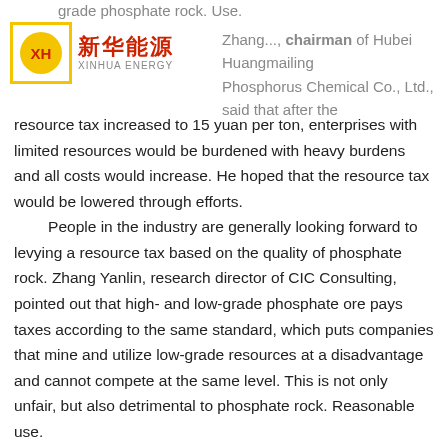grade phosphate rock. Use.
[Figure (logo): Xinhua Energy logo: yellow square border with red circular XH emblem, Chinese text 新华能源 and English text XINHUA ENERGY]
Zhang..., chairman of Hubei Huangmailing Phosphorus Chemical Co., Ltd., said that after the resource tax increased to 15 yuan per ton, enterprises with limited resources would be burdened with heavy burdens and all costs would increase. He hoped that the resource tax would be lowered through efforts.
People in the industry are generally looking forward to levying a resource tax based on the quality of phosphate rock. Zhang Yanlin, research director of CIC Consulting, pointed out that high- and low-grade phosphate ore pays taxes according to the same standard, which puts companies that mine and utilize low-grade resources at a disadvantage and cannot compete at the same level. This is not only unfair, but also detrimental to phosphate rock. Reasonable use.